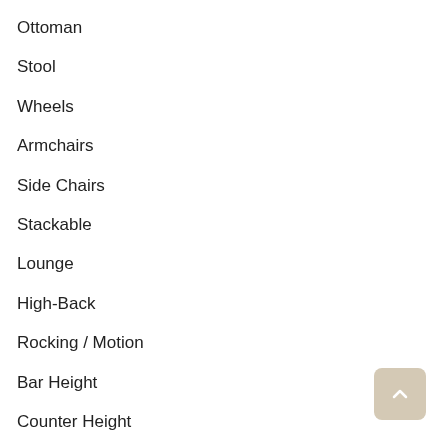Ottoman
Stool
Wheels
Armchairs
Side Chairs
Stackable
Lounge
High-Back
Rocking / Motion
Bar Height
Counter Height
Chaise / Loungers